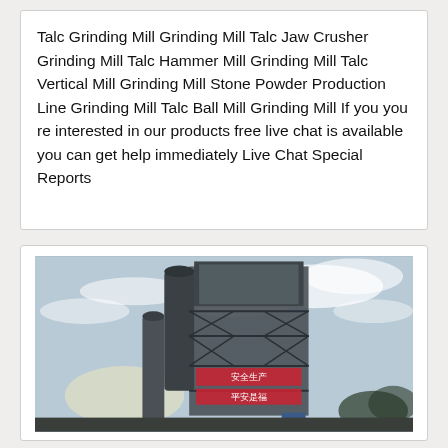Talc Grinding Mill Grinding Mill Talc Jaw Crusher Grinding Mill Talc Hammer Mill Grinding Mill Talc Vertical Mill Grinding Mill Stone Powder Production Line Grinding Mill Talc Ball Mill Grinding Mill If you you re interested in our products free live chat is available you can get help immediately Live Chat Special Reports
[Figure (photo): Industrial grinding mill facility photographed from below against a cloudy sky. A large multi-story steel-frame structure with dust collection equipment and Chinese safety signage is visible.]